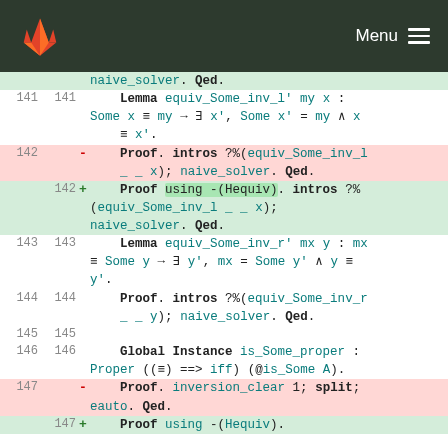GitLab — Menu
141 141     Lemma equiv_Some_inv_l' my x : Some x ≡ my → ∃ x', Some x' = my ∧ x ≡ x'.
142  -   Proof. intros ?%(equiv_Some_inv_l _ _ x); naive_solver. Qed.
142 +   Proof using -(Hequiv). intros ?%(equiv_Some_inv_l _ _ x); naive_solver. Qed.
143 143     Lemma equiv_Some_inv_r' mx y : mx ≡ Some y → ∃ y', mx = Some y' ∧ y ≡ y'.
144 144     Proof. intros ?%(equiv_Some_inv_r _ _ y); naive_solver. Qed.
145 145
146 146     Global Instance is_Some_proper : Proper ((≡) ==> iff) (@is_Some A).
147  -   Proof. inversion_clear 1; split; eauto. Qed.
147 +   Proof using -(Hequiv).